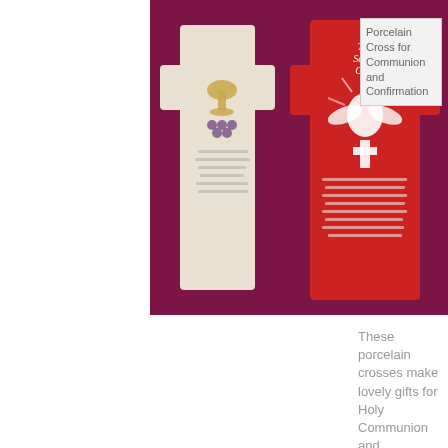[Figure (photo): Two porcelain cross decorations displayed against a dark magenta/purple background. The left cross is white/cream colored with a chalice and grape design. The right cross is red with 'The Seven Gifts' text and a white dove with rays of light.]
Porcelain Cross for Communion and Confirmation
These porcelain crosses make lovely gifts for Holy Communion and Confirmation. They